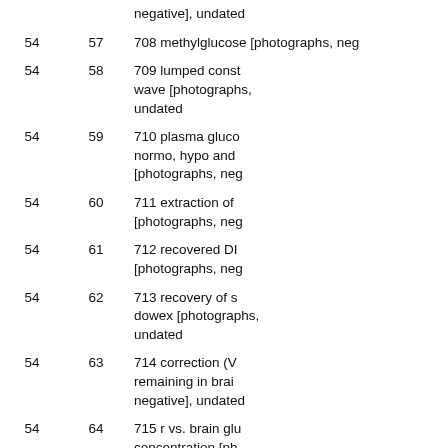|  |  | Description |
| --- | --- | --- |
|  |  | negative], undated |
| 54 | 57 | 708 methylglucose [photographs, neg |
| 54 | 58 | 709 lumped const wave [photographs, undated |
| 54 | 59 | 710 plasma gluco normo, hypo and [photographs, neg |
| 54 | 60 | 711 extraction of [photographs, neg |
| 54 | 61 | 712 recovered DI [photographs, neg |
| 54 | 62 | 713 recovery of s dowex [photographs, undated |
| 54 | 63 | 714 correction (V remaining in brai negative], undated |
| 54 | 64 | 715 r vs. brain glu concentration [ph negative], undated |
| 54 | 65 | 716 (incomplete) |